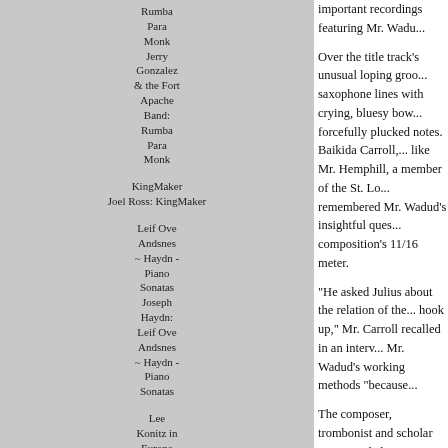[Figure (photo): Album cover for Rumba Para Monk by Jerry Gonzalez & the Fort Apache Band]
Rumba Para Monk
Jerry Gonzalez & the Fort Apache Band: Rumba Para Monk
[Figure (photo): Album cover for KingMaker by Joel Ross]
KingMaker
Joel Ross: KingMaker
[Figure (photo): Album cover for Leif Ove Andsnes - Haydn Piano Sonatas]
Leif Ove Andsnes ~ Haydn - Piano Sonatas
Joseph Haydn: Leif Ove Andsnes ~ Haydn - Piano Sonatas
[Figure (photo): Album cover for Lee Konitz in Europe '56 - Paris]
Lee Konitz in Europe '56 - Paris
important recordings featuring Mr. Wadu...
Over the title track's unusual loping groo... saxophone lines with crying, bluesy bow... forcefully plucked notes. Baikida Carroll,... like Mr. Hemphill, a member of the St. Lo... remembered Mr. Wadud's insightful ques... composition's 11/16 meter.
“He asked Julius about the relation of the... hook up,” Mr. Carroll recalled in an interv... Mr. Wadud’s working methods “because...
The composer, trombonist and scholar G... regarded Mr. Wadud’s playing on “Dogon... music. He tied that performance to Mr. W... which is currently out of print.
“There’s the electricity — he’s amplified -... a lot of the stuff that turns up being cryst... foreshadowed in ‘Dogon A.D.,’” Mr. Lewi... even James Brown couldn’t have done it... performance of the piece is included on a... released in 2021 by New World Records...
Mr. Wadud did not record much of his ow...